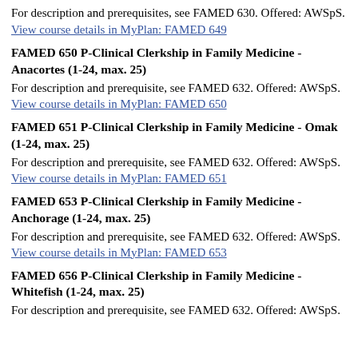For description and prerequisites, see FAMED 630. Offered: AWSpS.
View course details in MyPlan: FAMED 649
FAMED 650 P-Clinical Clerkship in Family Medicine - Anacortes (1-24, max. 25)
For description and prerequisite, see FAMED 632. Offered: AWSpS.
View course details in MyPlan: FAMED 650
FAMED 651 P-Clinical Clerkship in Family Medicine - Omak (1-24, max. 25)
For description and prerequisite, see FAMED 632. Offered: AWSpS.
View course details in MyPlan: FAMED 651
FAMED 653 P-Clinical Clerkship in Family Medicine - Anchorage (1-24, max. 25)
For description and prerequisite, see FAMED 632. Offered: AWSpS.
View course details in MyPlan: FAMED 653
FAMED 656 P-Clinical Clerkship in Family Medicine - Whitefish (1-24, max. 25)
For description and prerequisite, see FAMED 632. Offered: AWSpS.